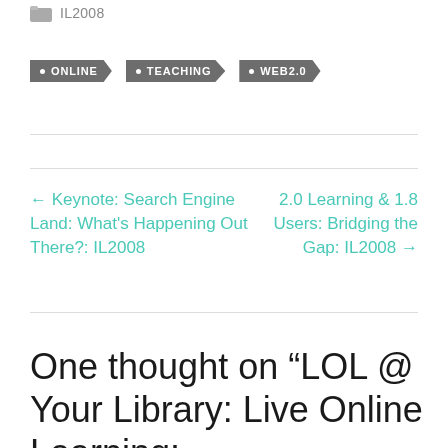IL2008
ONLINE
TEACHING
WEB2.0
← Keynote: Search Engine Land: What's Happening Out There?: IL2008
2.0 Learning & 1.8 Users: Bridging the Gap: IL2008 →
One thought on “LOL @ Your Library: Live Online Learning: